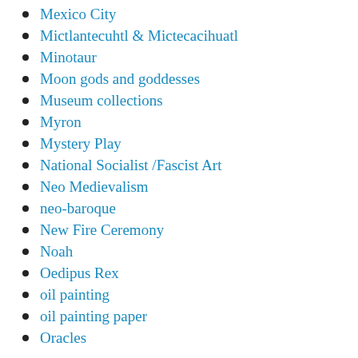Mexico City
Mictlantecuhtl & Mictecacihuatl
Minotaur
Moon gods and goddesses
Museum collections
Myron
Mystery Play
National Socialist /Fascist Art
Neo Medievalism
neo-baroque
New Fire Ceremony
Noah
Oedipus Rex
oil painting
oil painting paper
Oracles